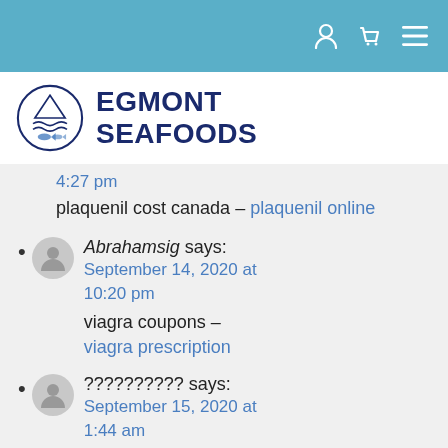Navigation bar with user, cart, and menu icons
[Figure (logo): Egmont Seafoods logo: circular emblem with fish and waves, next to bold text EGMONT SEAFOODS]
4:27 pm
plaquenil cost canada – plaquenil online
Abrahamsig says: September 14, 2020 at 10:20 pm viagra coupons – viagra prescription
?????????? says: September 15, 2020 at 1:44 am Some really nice and